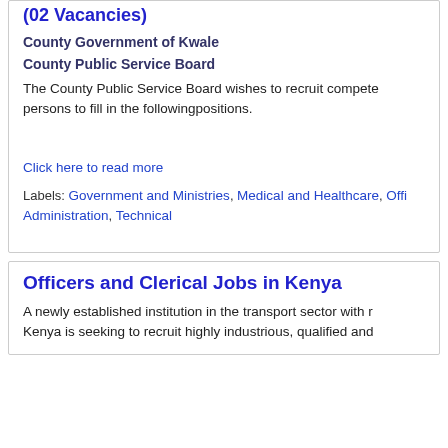(02 Vacancies)
County Government of Kwale
County Public Service Board
The County Public Service Board wishes to recruit competent persons to fill in the followingpositions.
Click here to read more
Labels: Government and Ministries, Medical and Healthcare, Offi Administration, Technical
Officers and Clerical Jobs in Kenya
A newly established institution in the transport sector with r Kenya is seeking to recruit highly industrious, qualified and